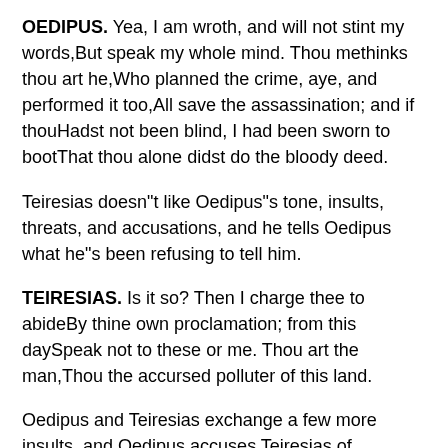OEDIPUS. Yea, I am wroth, and will not stint my words,But speak my whole mind. Thou methinks thou art he,Who planned the crime, aye, and performed it too,All save the assassination; and if thouHadst not been blind, I had been sworn to bootThat thou alone didst do the bloody deed.
Teiresias doesn"t like Oedipus"s tone, insults, threats, and accusations, and he tells Oedipus what he"s been refusing to tell him.
TEIRESIAS. Is it so? Then I charge thee to abideBy thine own proclamation; from this daySpeak not to these or me. Thou art the man,Thou the accursed polluter of this land.
Oedipus and Teiresias exchange a few more insults, and Oedipus accuses Teiresias of conspiring with Creon to tell lies about him, disgrace him, and take his throne from him.